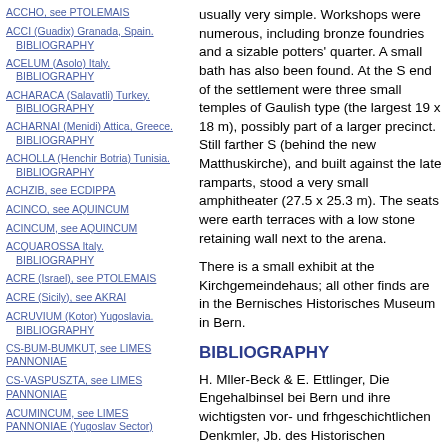ACCHO, see PTOLEMAIS
ACCI (Guadix) Granada, Spain. BIBLIOGRAPHY
ACELUM (Asolo) Italy. BIBLIOGRAPHY
ACHARACA (Salavatli) Turkey. BIBLIOGRAPHY
ACHARNAI (Menidi) Attica, Greece. BIBLIOGRAPHY
ACHOLLA (Henchir Botria) Tunisia. BIBLIOGRAPHY
ACHZIB, see ECDIPPA
ACINCO, see AQUINCUM
ACINCUM, see AQUINCUM
ACQUAROSSA Italy. BIBLIOGRAPHY
ACRE (Israel), see PTOLEMAIS
ACRE (Sicily), see AKRAI
ACRUVIUM (Kotor) Yugoslavia. BIBLIOGRAPHY
CS-BUM-BUMKUT, see LIMES PANNONIAE
CS-VASPUSZTA, see LIMES PANNONIAE
ACUMINCUM, see LIMES PANNONIAE (Yugoslav Sector)
usually very simple. Workshops were numerous, including bronze foundries and a sizable potters' quarter. A small bath has also been found. At the S end of the settlement were three small temples of Gaulish type (the largest 19 x 18 m), possibly part of a larger precinct. Still farther S (behind the new Matthuskirche), and built against the late ramparts, stood a very small amphitheater (27.5 x 25.3 m). The seats were earth terraces with a low stone retaining wall next to the arena.
There is a small exhibit at the Kirchgemeindehaus; all other finds are in the Bernisches Historisches Museum in Bern.
BIBLIOGRAPHY
H. Mller-Beck & E. Ettlinger, Die Engehalbinsel bei Bern und ihre wichtigsten vor- und frhgeschichtlichen Denkmler, Jb. des Historischen